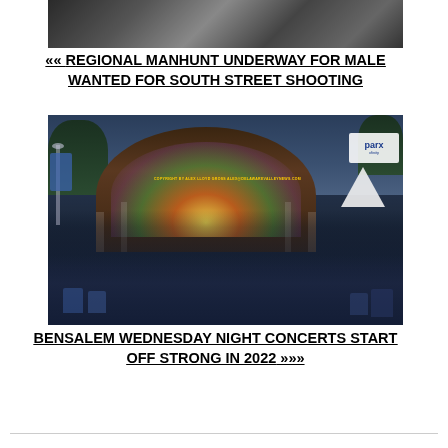[Figure (photo): Top partial photo, cropped feet on pavement]
<<< REGIONAL MANHUNT UNDERWAY FOR MALE WANTED FOR SOUTH STREET SHOOTING
[Figure (photo): Outdoor evening concert at Bensalem amphitheater with crowd seated on lawn, stage lit with colorful lights, copyright watermark reads: COPYRIGHT BY ALEX LLOYD GROSS ALEX@DELAWAREVALLEYNEWS.COM]
BENSALEM WEDNESDAY NIGHT CONCERTS START OFF STRONG IN 2022 >>>